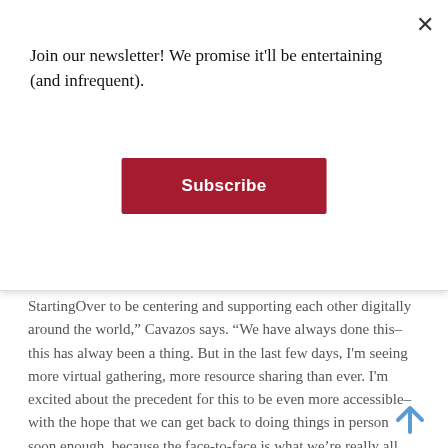Join our newsletter! We promise it'll be entertaining (and infrequent).
Subscribe
StartingOver to be centering and supporting each other digitally around the world,” Cavazos says. “We have always done this– this has alway been a thing. But in the last few days, I'm seeing more virtual gathering, more resource sharing than ever. I'm excited about the precedent for this to be even more accessible– with the hope that we can get back to doing things in person soon enough, because the face-to-face is what we’re really all about.”
The house– whose inhabitants are usually running around town, attending local goings-on, playing soccer, commuting to work in a northern suburb- has been enjoying family dinners every night. Last night was the first virtual dinner party the house hosted, with four attendees in four different locations attending via smartphone.